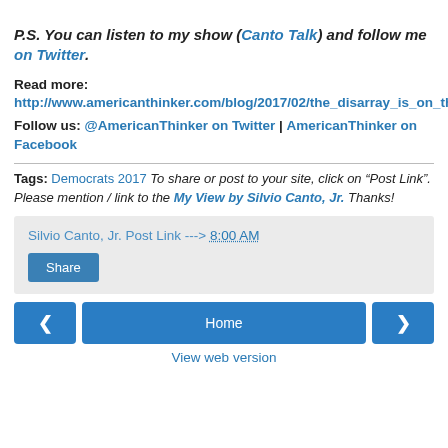P.S. You can listen to my show (Canto Talk) and follow me on Twitter.
Read more: http://www.americanthinker.com/blog/2017/02/the_disarray_is_on_the_democrat_side.html#ixzz4ZKHuh4fe
Follow us: @AmericanThinker on Twitter | AmericanThinker on Facebook
Tags: Democrats 2017 To share or post to your site, click on "Post Link". Please mention / link to the My View by Silvio Canto, Jr. Thanks!
Silvio Canto, Jr. Post Link ---> 8:00 AM
Share
Home
View web version